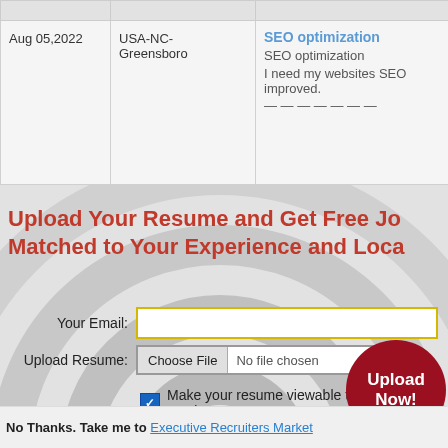|  |  |  |
| --- | --- | --- |
| Aug 05,2022 | USA-NC-Greensboro | SEO optimization
SEO optimization
I need my websites SEO improved. |
Upload Your Resume and Get Free Jobs Matched to Your Experience and Location
Your Email:
Upload Resume: Choose File No file chosen
Make your resume viewable to thousands of employers
Upload Now!
No Thanks. Take me to Executive Recruiters Market